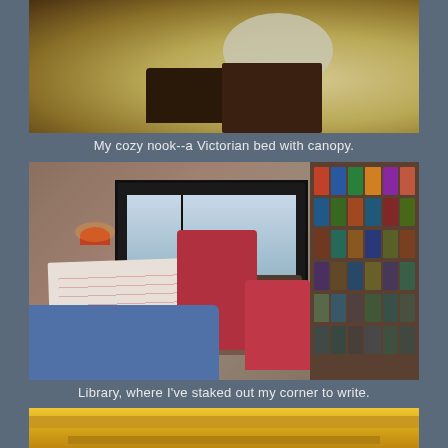[Figure (photo): Top portion of a Victorian bed with canopy, showing dark wooden furniture and an oval cushioned seat on a yellow-green floor]
My cozy nook--a Victorian bed with canopy.
[Figure (photo): Library room with dark-framed windows, red tufted armchair, bookshelf filled with colorful books, blue sofa in foreground, lamp, decorative rug, and table with floral tablecloth]
Library, where I've staked out my corner to write.
[Figure (photo): Bottom portion of a room showing yellow/golden woodwork or ceiling beams]